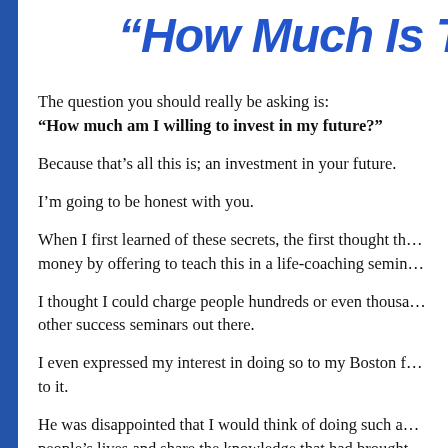“How Much Is This
The question you should really be asking is: “How much am I willing to invest in my future?”
Because that’s all this is; an investment in your future.
I’m going to be honest with you.
When I first learned of these secrets, the first thought th... money by offering to teach this in a life-coaching semin...
I thought I could charge people hundreds or even thous... other success seminars out there.
I even expressed my interest in doing so to my Boston f... to it.
He was disappointed that I would think of doing such a... people’s lives and share the knowledge that had brought...
[Figure (logo): ClickBank Trusted Secure badge with gold/yellow background]
that I needed to share these secrets wit... ans of the thousand-dollar seminars it t...